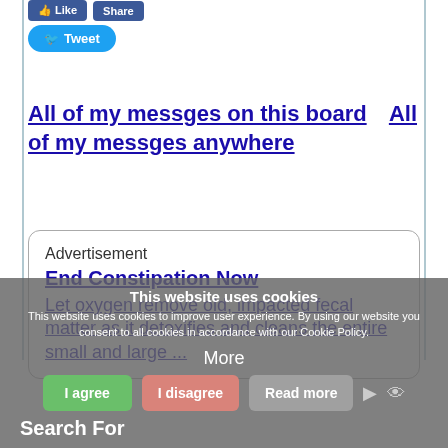[Figure (screenshot): Social media buttons: Like, Share (Facebook blue), and Tweet (Twitter blue) buttons at the top of the page]
All of my messges on this board     All of my messges anywhere
Advertisement
End Constipation Now
Let oxygen remove old, impacted fecal matter as it detoxifies and cleans the entire small and large ...
This website uses cookies
This website uses cookies to improve user experience. By using our website you consent to all cookies in accordance with our Cookie Policy.
More
I agree    I disagree    Read more
Search For